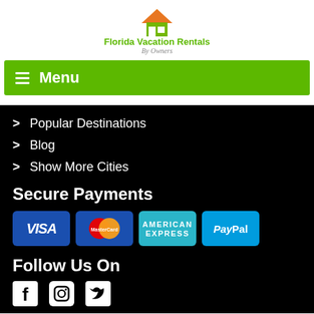[Figure (logo): Florida Vacation Rentals By Owners logo with house icon and green/orange colors]
Menu
> Popular Destinations
> Blog
> Show More Cities
Secure Payments
[Figure (infographic): Payment icons: Visa, MasterCard, American Express, PayPal]
Follow Us On
[Figure (infographic): Social media icons: Facebook, Instagram, Twitter]